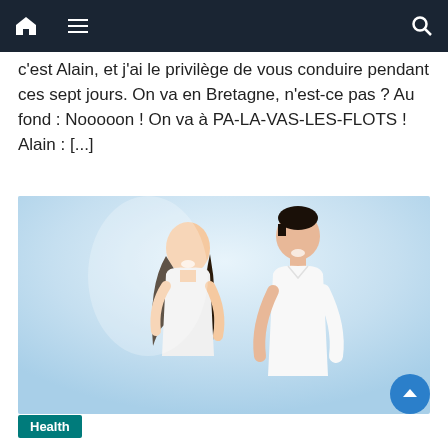[navigation bar with home, menu, search icons]
c'est Alain, et j'ai le privilège de vous conduire pendant ces sept jours. On va en Bretagne, n'est-ce pas ? Au fond : Nooooon ! On va à PA-LA-VAS-LES-FLOTS ! Alain : [...]
[Figure (photo): A smiling young Asian couple in white clothing against a light blue/white background. The woman has long dark hair and wears a white tank top; the man is taller with short hair and wears a white button-up shirt.]
Health